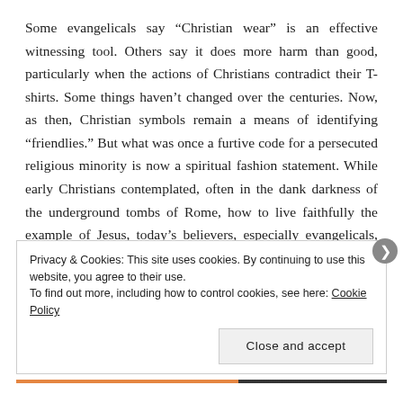Some evangelicals say “Christian wear” is an effective witnessing tool. Others say it does more harm than good, particularly when the actions of Christians contradict their T-shirts. Some things haven’t changed over the centuries. Now, as then, Christian symbols remain a means of identifying “friendlies.” But what was once a furtive code for a persecuted religious minority is now a spiritual fashion statement. While early Christians contemplated, often in the dank darkness of the underground tombs of Rome, how to live faithfully the example of Jesus, today’s believers, especially evangelicals, are apt to broadcast that intention on brightly colored bracelets and T-
Privacy & Cookies: This site uses cookies. By continuing to use this website, you agree to their use.
To find out more, including how to control cookies, see here: Cookie Policy
Close and accept